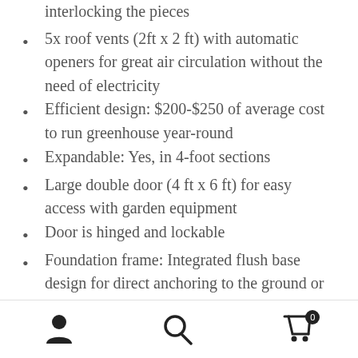…construction, as well as high- nibbed- design for interlocking the pieces
5x roof vents (2ft x 2 ft) with automatic openers for great air circulation without the need of electricity
Efficient design: $200-$250 of average cost to run greenhouse year-round
Expandable: Yes, in 4-foot sections
Large double door (4 ft x 6 ft) for easy access with garden equipment
Door is hinged and lockable
Foundation frame: Integrated flush base design for direct anchoring to the ground or deck
Integrated dual gutter system for easy rainwater collection
Included:
[Figure (other): Bottom navigation bar with user/account icon, search icon, and cart icon with badge showing 0]